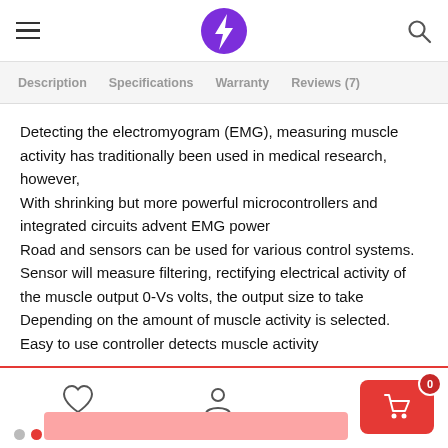Navigation header with hamburger menu, lightning bolt logo, and search icon
Description  Specifications  Warranty  Reviews (7)
Detecting the electromyogram (EMG), measuring muscle activity has traditionally been used in medical research, however,
With shrinking but more powerful microcontrollers and integrated circuits advent EMG power
Road and sensors can be used for various control systems.
Sensor will measure filtering, rectifying electrical activity of the muscle output 0-Vs volts, the output size to take Depending on the amount of muscle activity is selected.
Easy to use controller detects muscle activity
Footer with heart icon, user icon, and cart button with badge 0